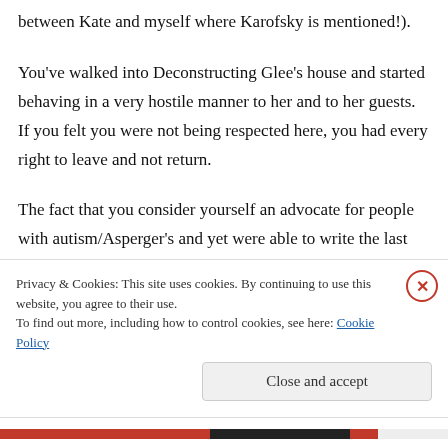between Kate and myself where Karofsky is mentioned!).
You've walked into Deconstructing Glee's house and started behaving in a very hostile manner to her and to her guests. If you felt you were not being respected here, you had every right to leave and not return.
The fact that you consider yourself an advocate for people with autism/Asperger's and yet were able to write the last paragraph of the post above
Privacy & Cookies: This site uses cookies. By continuing to use this website, you agree to their use.
To find out more, including how to control cookies, see here: Cookie Policy